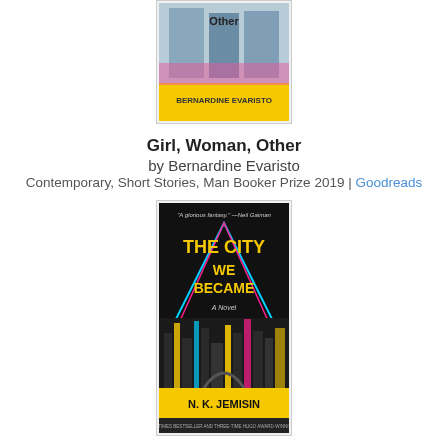[Figure (illustration): Book cover of 'Girl, Woman, Other' by Bernardine Evaristo — colorful illustrated cover with yellow and blue tones]
Girl, Woman, Other
by Bernardine Evaristo
Contemporary, Short Stories, Man Booker Prize 2019 | Goodreads
[Figure (illustration): Book cover of 'The City We Became' by N.K. Jemisin — dark cityscape with colorful neon lettering]
The City We Became
by N.K. Jemisin
Fantasy, SciFi, New York | Goodreads